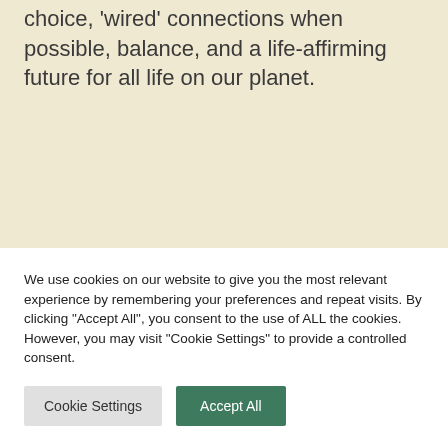choice, 'wired' connections when possible, balance, and a life-affirming future for all life on our planet.
We use cookies on our website to give you the most relevant experience by remembering your preferences and repeat visits. By clicking "Accept All", you consent to the use of ALL the cookies. However, you may visit "Cookie Settings" to provide a controlled consent.